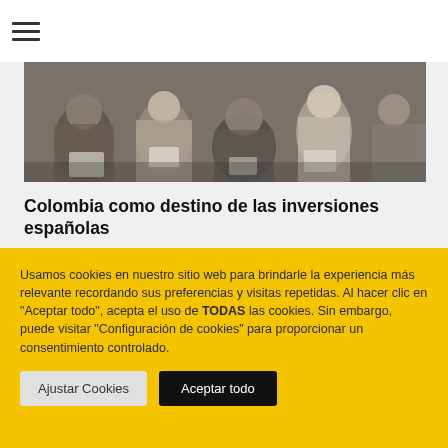☰
[Figure (photo): Overhead view of people seated at a conference or meeting, writing and using devices]
Colombia como destino de las inversiones españolas
153
[Figure (photo): Partial view of another article's photo strip]
Usamos cookies en nuestro sitio web para brindarle la experiencia más relevante recordando sus preferencias y visitas repetidas. Al hacer clic en "Aceptar todo", acepta el uso de TODAS las cookies. Sin embargo, puede visitar "Configuración de cookies" para proporcionar un consentimiento controlado.
Ajustar Cookies
Aceptar todo